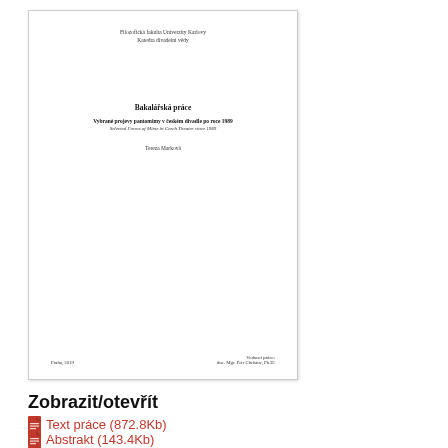[Figure (other): Thumbnail preview of a thesis title page from Filozofická fakulta Univerzity Karlovy, Katedra divadelní vědy. Shows title 'Bakalářská práce', thesis title in Czech and English, author Tereza Marková, year Praha 2019, supervisor doc. Mgr. Petr Christov, Ph.D.]
Zobrazit/otevřít
Text práce (872.8Kb)
Abstrakt (143.4Kb)
Abstrakt (anglicky) (126.5Kb)